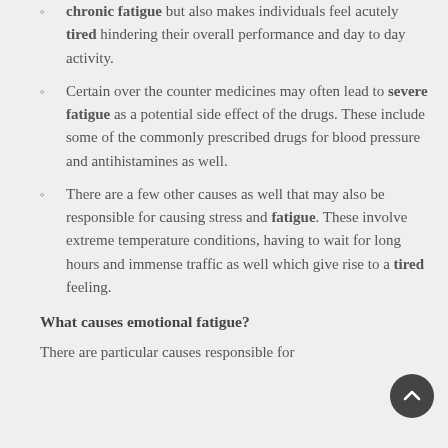chronic fatigue but also makes individuals feel acutely tired hindering their overall performance and day to day activity.
Certain over the counter medicines may often lead to severe fatigue as a potential side effect of the drugs. These include some of the commonly prescribed drugs for blood pressure and antihistamines as well.
There are a few other causes as well that may also be responsible for causing stress and fatigue. These involve extreme temperature conditions, having to wait for long hours and immense traffic as well which give rise to a tired feeling.
What causes emotional fatigue?
There are particular causes responsible for